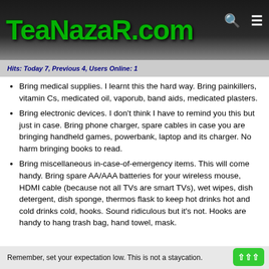TeaNazaR.com
Hits: Today 7, Previous 4, Users Online: 1
Bring medical supplies. I learnt this the hard way. Bring painkillers, vitamin Cs, medicated oil, vaporub, band aids, medicated plasters.
Bring electronic devices. I don't think I have to remind you this but just in case. Bring phone charger, spare cables in case you are bringing handheld games, powerbank, laptop and its charger. No harm bringing books to read.
Bring miscellaneous in-case-of-emergency items. This will come handy. Bring spare AA/AAA batteries for your wireless mouse, HDMI cable (because not all TVs are smart TVs), wet wipes, dish detergent, dish sponge, thermos flask to keep hot drinks hot and cold drinks cold, hooks. Sound ridiculous but it's not. Hooks are handy to hang trash bag, hand towel, mask.
Remember, set your expectation low. This is not a staycation.